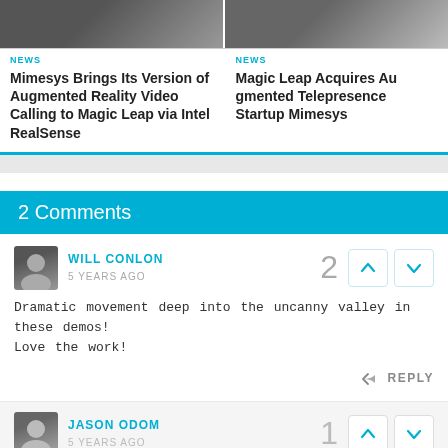[Figure (photo): Two news article cards side by side, each with a photo thumbnail at top]
NEWS
Mimesys Brings Its Version of Augmented Reality Video Calling to Magic Leap via Intel RealSense
NEWS
Magic Leap Acquires Augmented Telepresence Startup Mimesys
2 Comments
WILL CONLON
5 YEARS AGO
Dramatic movement deep into the uncanny valley in these demos! Love the work!
REPLY
JASON ODOM